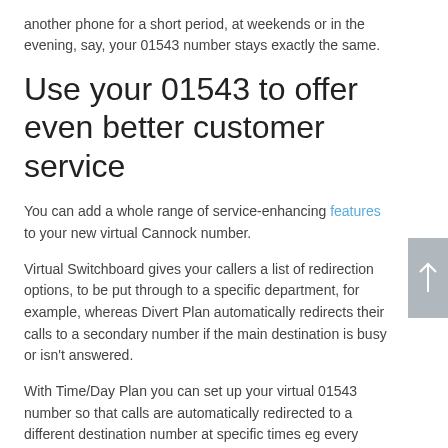another phone for a short period, at weekends or in the evening, say, your 01543 number stays exactly the same.
Use your 01543 to offer even better customer service
You can add a whole range of service-enhancing features to your new virtual Cannock number.
Virtual Switchboard gives your callers a list of redirection options, to be put through to a specific department, for example, whereas Divert Plan automatically redirects their calls to a secondary number if the main destination is busy or isn't answered.
With Time/Day Plan you can set up your virtual 01543 number so that calls are automatically redirected to a different destination number at specific times eg every evening and/or at weekends.
Our other add-ons include Call Tracking, Mid Call